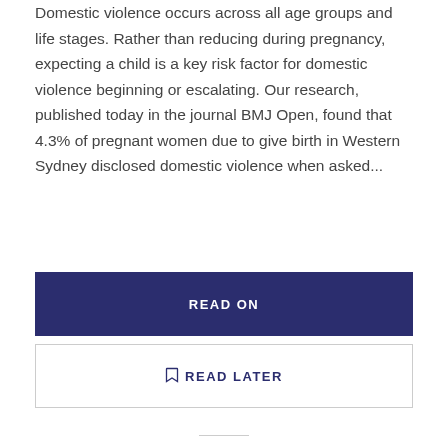Domestic violence occurs across all age groups and life stages. Rather than reducing during pregnancy, expecting a child is a key risk factor for domestic violence beginning or escalating. Our research, published today in the journal BMJ Open, found that 4.3% of pregnant women due to give birth in Western Sydney disclosed domestic violence when asked...
READ ON
READ LATER